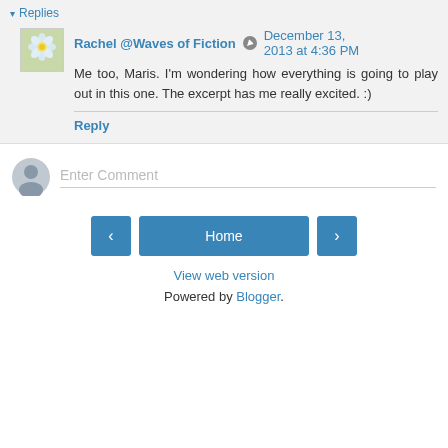▾ Replies
Rachel @Waves of Fiction December 13, 2013 at 4:36 PM
Me too, Maris. I'm wondering how everything is going to play out in this one. The excerpt has me really excited. :)
Reply
Enter Comment
Home
View web version
Powered by Blogger.